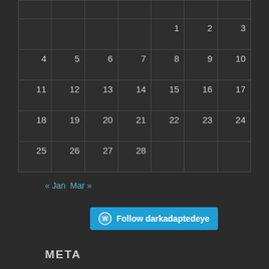|  |  |  |  |  |  |  |
|  |  |  |  | 1 | 2 | 3 |
| 4 | 5 | 6 | 7 | 8 | 9 | 10 |
| 11 | 12 | 13 | 14 | 15 | 16 | 17 |
| 18 | 19 | 20 | 21 | 22 | 23 | 24 |
| 25 | 26 | 27 | 28 |  |  |  |
« Jan   Mar »
[Figure (other): Follow darkadaptedeye button with WordPress logo]
META
Register